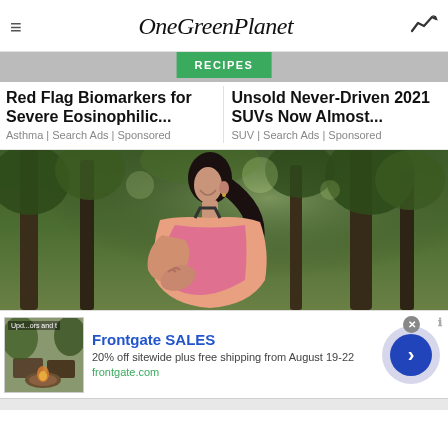OneGreenPlanet
RECIPES
Red Flag Biomarkers for Severe Eosinophilic...
Asthma | Search Ads | Sponsored
Unsold Never-Driven 2021 SUVs Now Almost...
SUV | Search Ads | Sponsored
[Figure (photo): Woman in pink athletic wear bending forward holding her chest, outdoors with green trees in background]
Frontgate SALES
20% off sitewide plus free shipping from August 19-22
frontgate.com